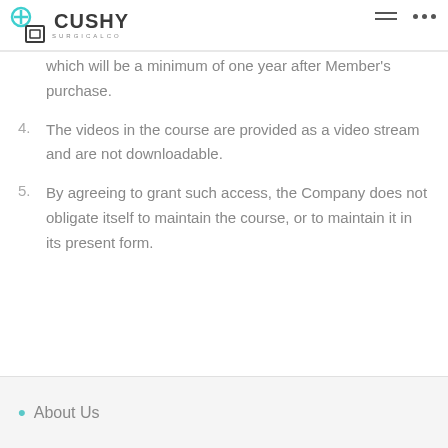CUSHY SURGICALCO
which will be a minimum of one year after Member's purchase.
4. The videos in the course are provided as a video stream and are not downloadable.
5. By agreeing to grant such access, the Company does not obligate itself to maintain the course, or to maintain it in its present form.
About Us